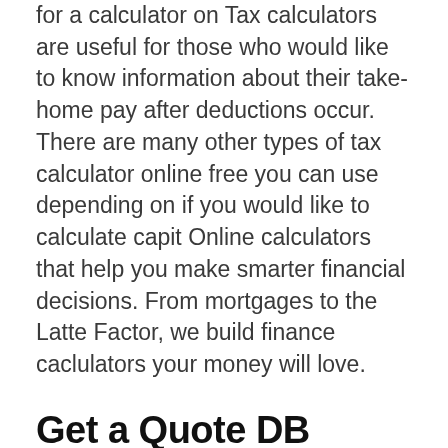for a calculator on Tax calculators are useful for those who would like to know information about their take-home pay after deductions occur. There are many other types of tax calculator online free you can use depending on if you would like to calculate capit Online calculators that help you make smarter financial decisions. From mortgages to the Latte Factor, we build finance caclulators your money will love.
Get a Quote DB Schenker
Taylor series online calculator. Taylor expansion of the function f (x) in neighborhood of some point a is of the form: If a = 0, the expansion is called Maclaurin series. Taylor series calculator. Expression input type:: Simple. Install calculator on